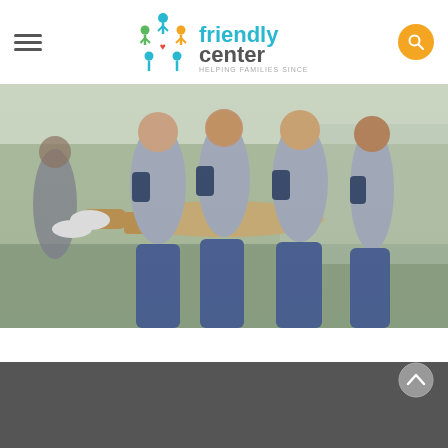[Figure (logo): Friendly Center logo with tagline 'Helping Families Since 1924' and colorful icon showing people figures and heart]
[Figure (photo): Group of smiling teenagers in matching gray and navy t-shirts, some lifting one person horizontally, outdoors on a sunny day]